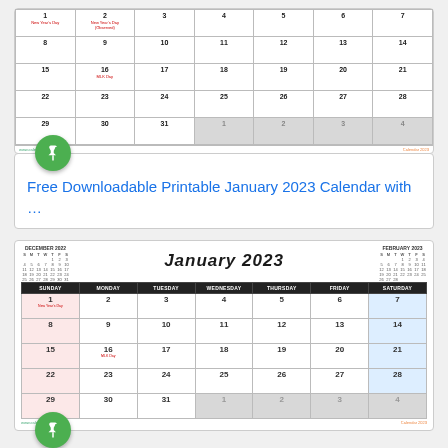[Figure (other): Top portion of a January 2023 printable calendar with dates 8-31 and overflow days, showing New Year's Day and MLK Day holidays]
Free Downloadable Printable January 2023 Calendar with …
[Figure (other): January 2023 calendar with bold stylized title, mini December 2022 and February 2023 reference calendars, pink Sundays, blue Saturdays, and gray overflow days]